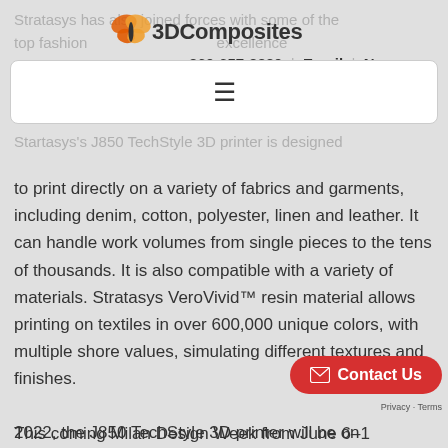Stratasys has also joined forces with some of the top fashion designers known for their excellence for evolving fashion technology, such as D-house in Milan
[Figure (logo): 3DComposites logo with orange butterfly icon and bold text '3DComposites']
360-657-3330  |  Email  |  News
[Figure (other): Hamburger menu icon (three horizontal lines) in a white rounded rectangle bar]
Startasys's J850 TechStyle 3D printer is designed to print directly on a variety of fabrics and garments, including denim, cotton, polyester, linen and leather. It can handle work volumes from single pieces to the tens of thousands. It is also compatible with a variety of materials. Stratasys VeroVivid™ resin material allows printing on textiles in over 600,000 unique colors, with multiple shore values, simulating different textures and finishes.
This coming Milan Design Week from June 6–12 2022, the J850 TechStyle 3D printer will be on